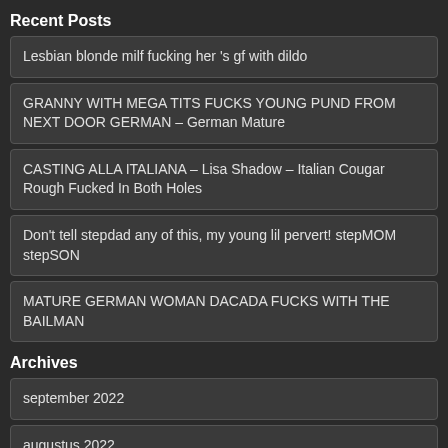Recent Posts
Lesbian blonde milf fucking her 's gf with dildo
GRANNY WITH MEGA TITS FUCKS YOUNG PUND FROM NEXT DOOR GERMAN – German Mature
CASTING ALLA ITALIANA – Lisa Shadow – Italian Cougar Rough Fucked In Both Holes
Don't tell stepdad any of this, my young lil pervert! stepMOM stepSON
MATURE GERMAN WOMAN DACADA FUCKS WITH THE BAILMAN
Archives
september 2022
augustus 2022
July 2022
June 2022
mei 2022